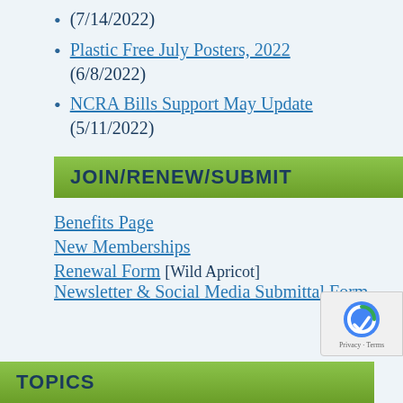(7/14/2022)
Plastic Free July Posters, 2022 (6/8/2022)
NCRA Bills Support May Update (5/11/2022)
JOIN/RENEW/SUBMIT
Benefits Page
New Memberships
Renewal Form [Wild Apricot]
Newsletter & Social Media Submittal Form
TOPICS